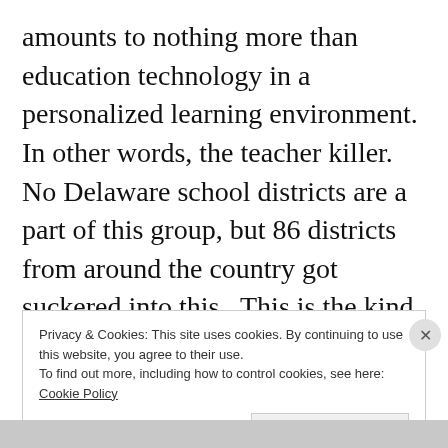amounts to nothing more than education technology in a personalized learning environment.  In other words, the teacher killer.  No Delaware school districts are a part of this group, but 86 districts from around the country got suckered into this.  This is the kind of crap the Rodel Foundation loves to foist upon Delaware.
Privacy & Cookies: This site uses cookies. By continuing to use this website, you agree to their use.
To find out more, including how to control cookies, see here: Cookie Policy
Close and accept